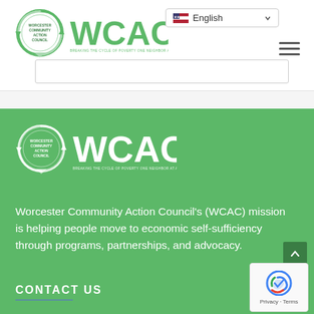[Figure (logo): WCAC Worcester Community Action Council logo with green circular arrows and WCAC text, tagline: BREAKING THE CYCLE OF POVERTY ONE NEIGHBOR AT A TIME]
[Figure (screenshot): Language selector dropdown showing English with flag icon and dropdown arrow]
[Figure (other): Hamburger menu icon (three horizontal lines)]
[Figure (logo): WCAC Worcester Community Action Council logo in white on green background, tagline: BREAKING THE CYCLE OF POVERTY ONE NEIGHBOR AT A TIME]
Worcester Community Action Council's (WCAC) mission is helping people move to economic self-sufficiency through programs, partnerships, and advocacy.
CONTACT US